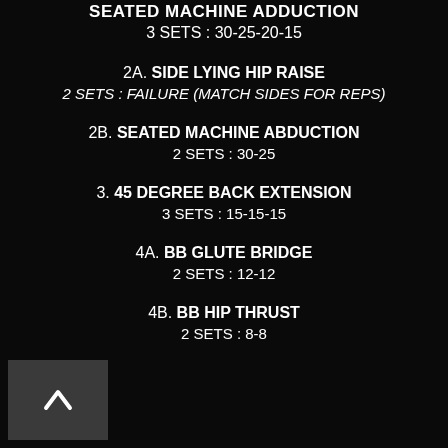SEATED MACHINE ADDUCTION
3 SETS : 30-25-20-15
2A. SIDE LYING HIP RAISE
2 SETS : FAILURE (MATCH SIDES FOR REPS)
2B. SEATED MACHINE ABDUCTION
2 SETS : 30-25
3. 45 DEGREE BACK EXTENSION
3 SETS : 15-15-15
4A. BB GLUTE BRIDGE
2 SETS : 12-12
4B. BB HIP THRUST
2 SETS : 8-8